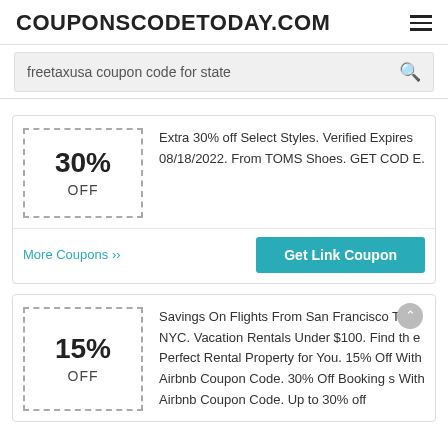COUPONSCODETODAY.COM
freetaxusa coupon code for state
30% OFF — Extra 30% off Select Styles. Verified Expires 08/18/2022. From TOMS Shoes. GET CODE.
More Coupons ›› | Get Link Coupon
15% OFF — Savings On Flights From San Francisco To NYC. Vacation Rentals Under $100. Find the Perfect Rental Property for You. 15% Off With Airbnb Coupon Code. 30% Off Bookings With Airbnb Coupon Code. Up to 30% off